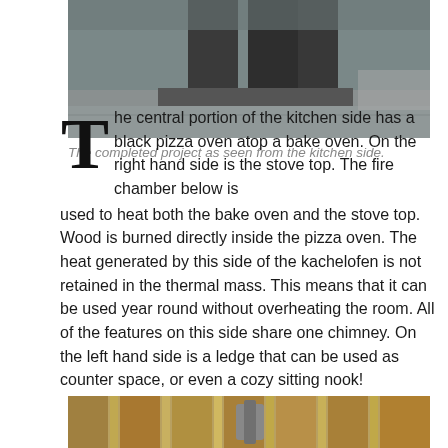[Figure (photo): Photo of completed kachelofen project as seen from the kitchen side, showing dark stone/masonry structure]
The completed project as seen from the kitchen side.
The central portion of the kitchen side has a black pizza oven atop a bake oven. On the right hand side is the stove top. The fire chamber below is used to heat both the bake oven and the stove top. Wood is burned directly inside the pizza oven. The heat generated by this side of the kachelofen is not retained in the thermal mass. This means that it can be used year round without overheating the room. All of the features on this side share one chimney. On the left hand side is a ledge that can be used as counter space, or even a cozy sitting nook!
[Figure (photo): Partial photo at bottom of page showing wooden ceiling beams and a metal element, viewed from below]